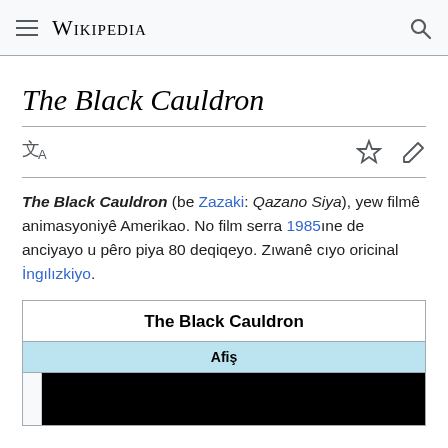Wikipedia
The Black Cauldron
The Black Cauldron (be Zazaki: Qazano Siya), yew filmê animasyoniyê Amerikao. No film serra 1985ıne de anciyayo u pêro piya 80 deqiqeyo. Zıwanê cıyo oricinal İngılızkiyo.
| The Black Cauldron |
| --- |
| Afiş |
| [image] |